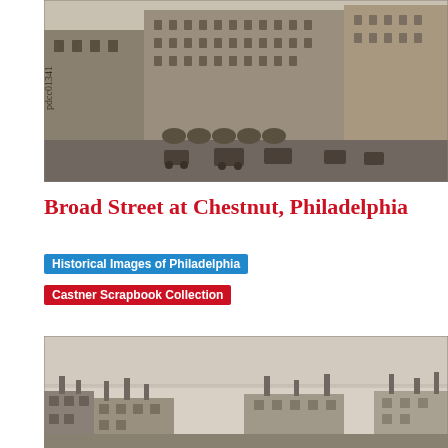[Figure (photo): Historical black and white photograph of Broad Street at Chestnut, Philadelphia. Shows large multi-story Victorian-era commercial buildings with ornate facades. Street level shows horse-drawn vehicles and activity. Handwritten annotation 'pdcc01341' visible on left side.]
Broad Street at Chestnut, Philadelphia
Historical Images of Philadelphia
Castner Scrapbook Collection
[Figure (photo): Historical black and white photograph showing a street view with low-rise buildings, rooftops, and chimneys. A wide street or open area is visible. Part of the Castner Scrapbook Collection historical images of Philadelphia.]